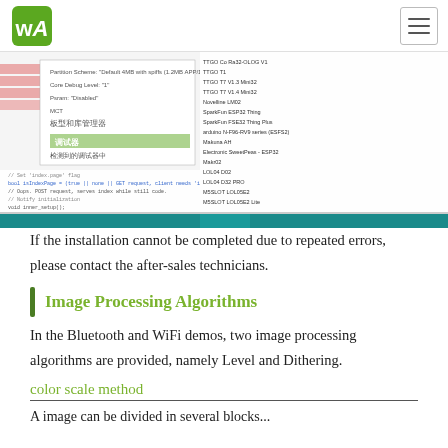Waveshare logo and navigation
[Figure (screenshot): Screenshot of an IDE or configuration tool showing partition scheme settings, debug options, and a list of board options including TTGO, Sparkfun, Arduino, Electronic SweetPeas, Makerfabs, Waveshare, NoduMcu, Nodekit, and Heltec boards. A terminal/dark area is shown at the bottom of the screenshot.]
If the installation cannot be completed due to repeated errors, please contact the after-sales technicians.
Image Processing Algorithms
In the Bluetooth and WiFi demos, two image processing algorithms are provided, namely Level and Dithering.
color scale method
A image can be divided in several blocks...